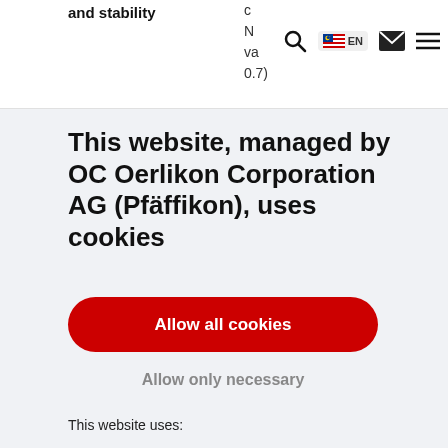and stability
c
N
va
0.7)
This website, managed by OC Oerlikon Corporation AG (Pfäffikon), uses cookies
Allow all cookies
Allow only necessary
This website uses:
necessary cookies: ensure the normal functioning of the website by enabling basic